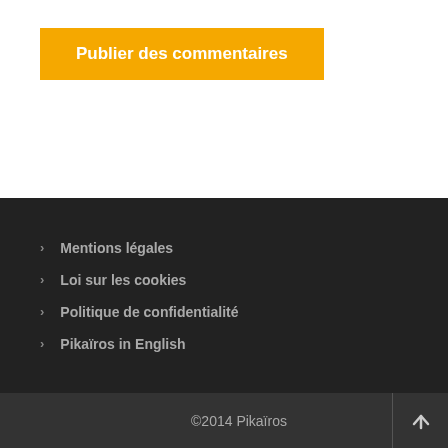Publier des commentaires
Mentions légales
Loi sur les cookies
Politique de confidentialité
Pikaïros in English
©2014 Pikaïros